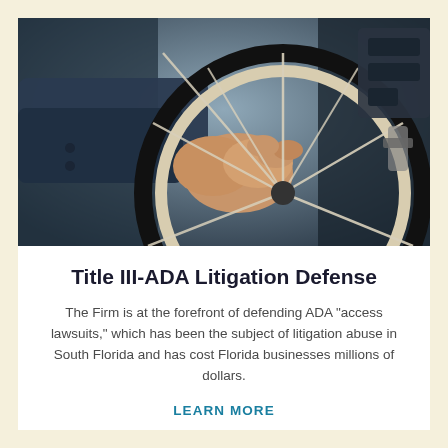[Figure (photo): Close-up of a person's hand gripping a wheelchair wheel, wearing a dark suit jacket. The wheel spokes are visible and the background shows mechanical parts of the wheelchair.]
Title III-ADA Litigation Defense
The Firm is at the forefront of defending ADA “access lawsuits,” which has been the subject of litigation abuse in South Florida and has cost Florida businesses millions of dollars.
LEARN MORE